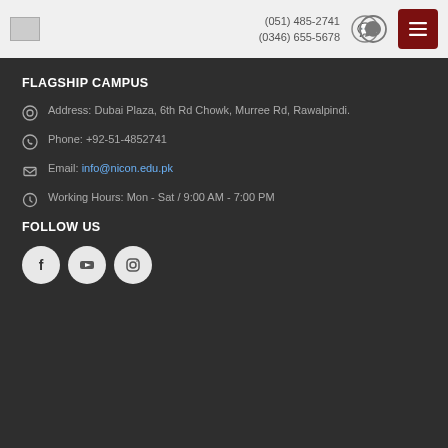(051) 485-2741 (0346) 655-5678
FLAGSHIP CAMPUS
Address: Dubai Plaza, 6th Rd Chowk, Murree Rd, Rawalpindi.
Phone: +92-51-4852741
Email: info@nicon.edu.pk
Working Hours: Mon - Sat / 9:00 AM - 7:00 PM
FOLLOW US
[Figure (other): Social media icons: Facebook, YouTube, Instagram]